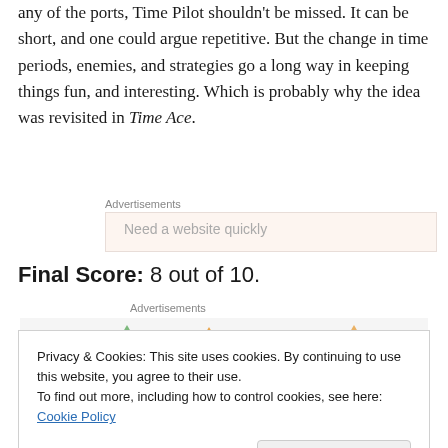any of the ports, Time Pilot shouldn't be missed. It can be short, and one could argue repetitive. But the change in time periods, enemies, and strategies go a long way in keeping things fun, and interesting. Which is probably why the idea was revisited in Time Ace.
Advertisements
Need a website quickly
Final Score: 8 out of 10.
Advertisements
Privacy & Cookies: This site uses cookies. By continuing to use this website, you agree to their use.
To find out more, including how to control cookies, see here: Cookie Policy
Close and accept